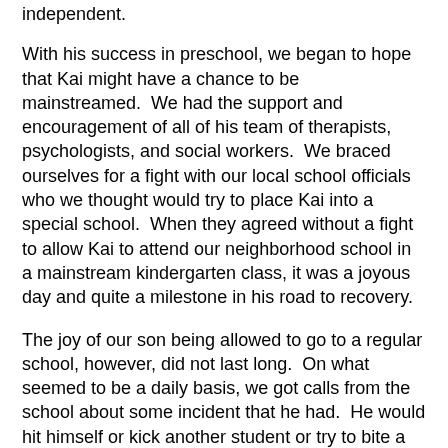independent.
With his success in preschool, we began to hope that Kai might have a chance to be mainstreamed.  We had the support and encouragement of all of his team of therapists, psychologists, and social workers.  We braced ourselves for a fight with our local school officials who we thought would try to place Kai into a special school.  When they agreed without a fight to allow Kai to attend our neighborhood school in a mainstream kindergarten class, it was a joyous day and quite a milestone in his road to recovery.
The joy of our son being allowed to go to a regular school, however, did not last long.  On what seemed to be a daily basis, we got calls from the school about some incident that he had.  He would hit himself or kick another student or try to bite a teacher.  Often, this was precipitated by having to wait for something.  Sometimes he protested having to do something.
The school attempted to make accommodations for him.  An aide was assigned to him.  He would enter and leave the